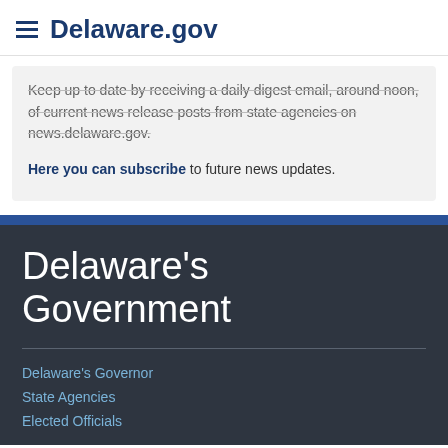Delaware.gov
Keep up to date by receiving a daily digest email, around noon, of current news release posts from state agencies on news.delaware.gov.
Here you can subscribe to future news updates.
Delaware's Government
Delaware's Governor
State Agencies
Elected Officials